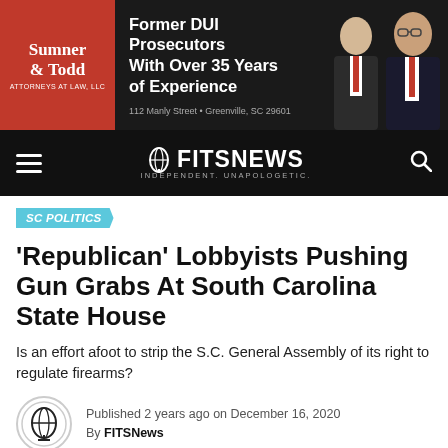[Figure (illustration): Sumner & Todd Attorneys at Law advertisement banner. Dark background with red logo on left, bold white text 'Former DUI Prosecutors With Over 35 Years of Experience', address '112 Manly Street • Greenville, SC 29601', and two attorneys in suits on the right.]
[Figure (logo): FITSNews navigation bar with hamburger menu on left, FITSNews logo with globe icon in center (tagline: INDEPENDENT. UNAPOLOGETIC.), and search icon on right. Dark/black background.]
SC POLITICS
'Republican' Lobbyists Pushing Gun Grabs At South Carolina State House
Is an effort afoot to strip the S.C. General Assembly of its right to regulate firearms?
Published 2 years ago on December 16, 2020
By FITSNews
[Figure (photo): Bottom strip showing a chain-link fence partially visible, cropped at the bottom of the page.]